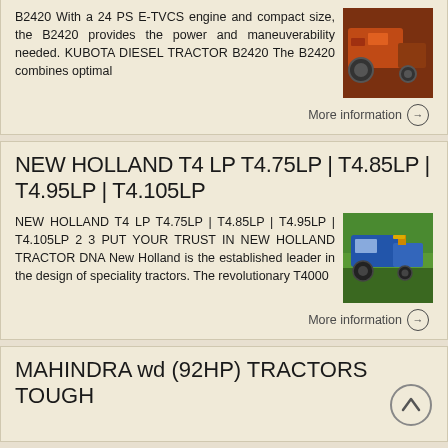B2420 With a 24 PS E-TVCS engine and compact size, the B2420 provides the power and maneuverability needed. KUBOTA DIESEL TRACTOR B2420 The B2420 combines optimal
[Figure (photo): Thumbnail photo of a Kubota diesel tractor, orange/red color]
More information →
NEW HOLLAND T4 LP T4.75LP | T4.85LP | T4.95LP | T4.105LP
NEW HOLLAND T4 LP T4.75LP | T4.85LP | T4.95LP | T4.105LP 2 3 PUT YOUR TRUST IN NEW HOLLAND TRACTOR DNA New Holland is the established leader in the design of speciality tractors. The revolutionary T4000
[Figure (photo): Thumbnail photo of a New Holland tractor, blue color in a field]
More information →
MAHINDRA wd (92HP) TRACTORS TOUGH